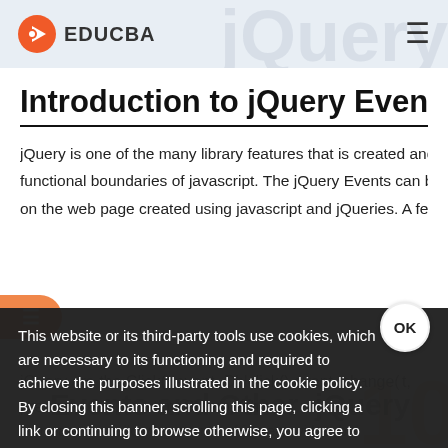EDUCBA
Introduction to jQuery Events
jQuery is one of the many library features that is created and functional boundaries of javascript. The jQuery Events can be on the web page created using javascript and jQueries. A few
jQuery are the Click() event, Dblclick() event, change() t, prevent... timeStamp, wh... events... load() eve
Events and Other jQuery
Here are the following events of jQuery with s bel
This website or its third-party tools use cookies, which are necessary to its functioning and required to achieve the purposes illustrated in the cookie policy. By closing this banner, scrolling this page, clicking a link or continuing to browse otherwise, you agree to our Privacy Policy